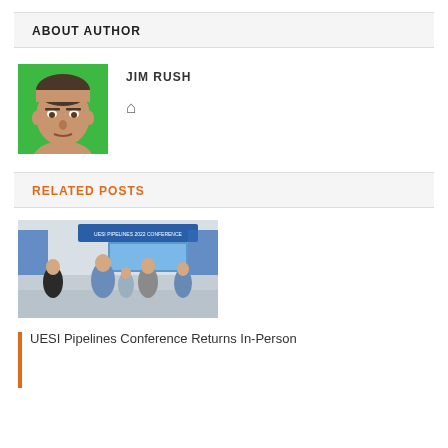ABOUT AUTHOR
[Figure (photo): Headshot of Jim Rush against green background]
JIM RUSH
RELATED POSTS
[Figure (photo): Conference scene showing attendees at UESI Pipelines 2022 Conference entrance]
UESI Pipelines Conference Returns In-Person